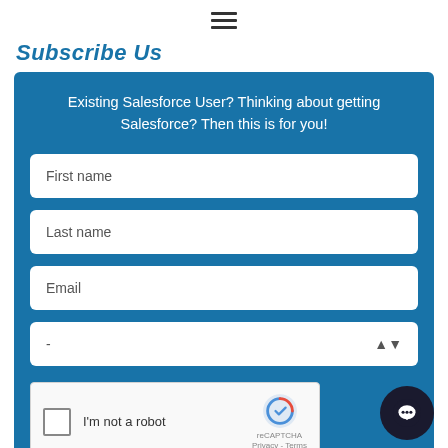☰ (hamburger menu icon)
Subscribe Us
Existing Salesforce User? Thinking about getting Salesforce? Then this is for you!
First name
Last name
Email
-
[Figure (screenshot): reCAPTCHA widget with checkbox labeled 'I'm not a robot' and reCAPTCHA logo with 'Privacy - Terms' text]